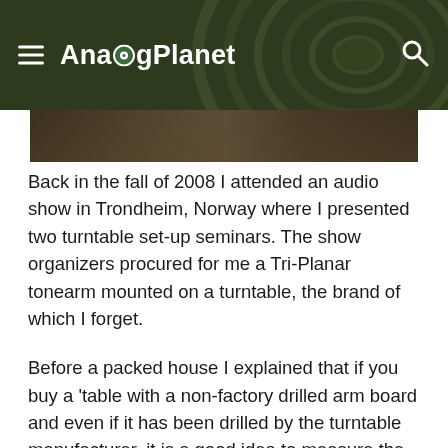AnalogPlanet
[Figure (photo): Partial photo strip showing a cropped image of a person or scene, dark tones]
Back in the fall of 2008 I attended an audio show in Trondheim, Norway where I presented two turntable set-up seminars. The show organizers procured for me a Tri-Planar tonearm mounted on a turntable, the brand of which I forget.
Before a packed house I explained that if you buy a 'table with a non-factory drilled arm board and even if it has been drilled by the turntable manufacturer, it is a good idea to measure the pivot-to-spindle distance because if it is incorrect, it will produce incorrect overhang results.
"In this case," I asked, as I placed over the spindle the